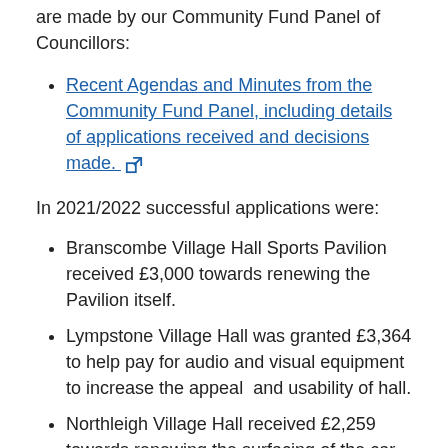are made by our Community Fund Panel of Councillors:
Recent Agendas and Minutes from the Community Fund Panel, including details of applications received and decisions made. [external link]
In 2021/2022 successful applications were:
Branscombe Village Hall Sports Pavilion received £3,000 towards renewing the Pavilion itself.
Lympstone Village Hall was granted £3,364 to help pay for audio and visual equipment to increase the appeal  and usability of hall.
Northleigh Village Hall received £2,259 towards renewing the surfacing of the car park, which was becoming difficult for people with mobility